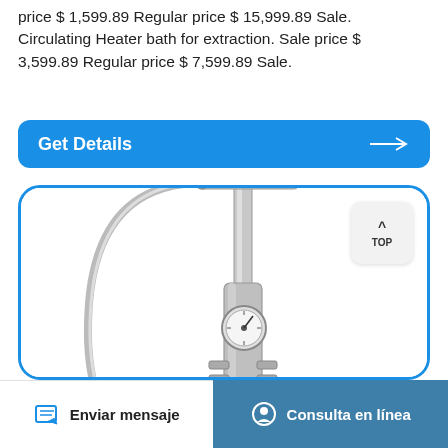price $ 1,599.89 Regular price $ 15,999.89 Sale. Circulating Heater bath for extraction. Sale price $ 3,599.89 Regular price $ 7,599.89 Sale.
[Figure (other): Blue rounded-rectangle 'Get Details' button with white text and right-pointing arrow on blue background]
[Figure (photo): Stainless steel extraction equipment column with blue valve handles, flexible hose, pressure gauge, and multiple fittings on a white background, inside a blue-bordered rounded frame. A 'TOP' button badge is visible in the top-right corner.]
Enviar mensaje
Consulta en línea